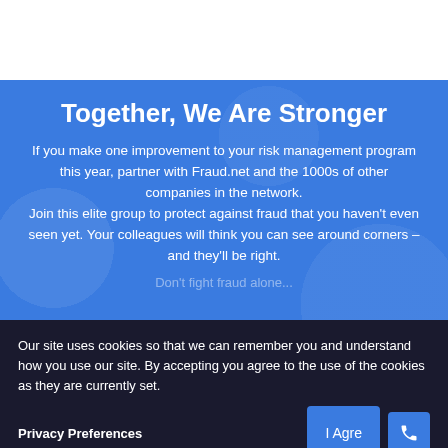Together, We Are Stronger
If you make one improvement to your risk management program this year, partner with Fraud.net and the 1000s of other companies in the network. Join this elite group to protect against fraud that you haven't even seen yet. Your colleagues will think you can see around corners – and they'll be right.
Don't fight fraud alone...
Our site uses cookies so that we can remember you and understand how you use our site. By accepting you agree to the use of the cookies as they are currently set.
Privacy Preferences
I Agree